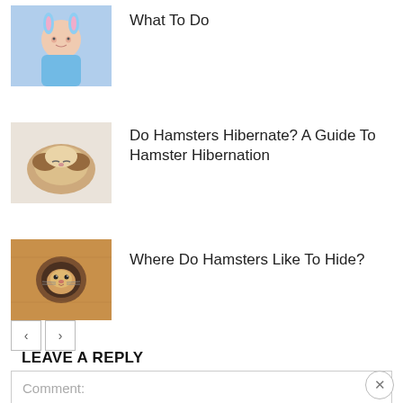[Figure (photo): Baby dressed in blue bunny costume, partially visible at top]
What To Do
[Figure (photo): Hamster sleeping curled up, brown and white fur]
Do Hamsters Hibernate? A Guide To Hamster Hibernation
[Figure (photo): Hamster peeking through a hole in cardboard box]
Where Do Hamsters Like To Hide?
LEAVE A REPLY
Comment: